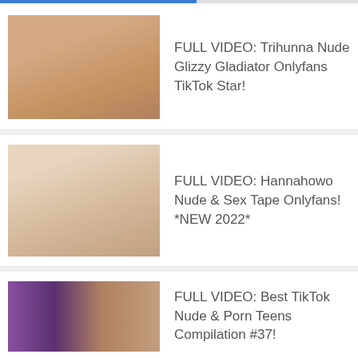FULL VIDEO: Trihunna Nude Glizzy Gladiator Onlyfans TikTok Star!
FULL VIDEO: Hannahowo Nude & Sex Tape Onlyfans! *NEW 2022*
FULL VIDEO: Best TikTok Nude & Porn Teens Compilation #37!
FULL VIDEO: Best TikTok Nude & Porn Teens Compilation #36!
LATEST VIDEO: Tokischa Nude & Sex Tape